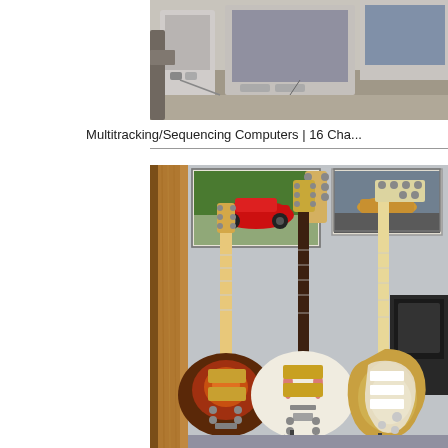[Figure (photo): Partial view of music studio equipment — multitracking/sequencing computers, visible at top of page, cropped]
Multitracking/Sequencing Computers | 16 Cha...
[Figure (photo): Three electric guitars leaning on stands against a wall: a sunburst Les Paul-style guitar on the left, a white/cream semi-hollow body guitar in the center, and a sunburst Stratocaster-style guitar on the right. A wooden door frame is visible on the left side, and car posters hang on the wall in the background.]